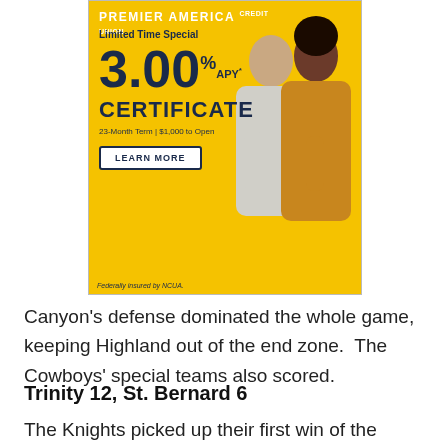[Figure (illustration): Premier America Credit Union advertisement with yellow background. Shows '3.00% APY* CERTIFICATE', 'Limited Time Special', '23-Month Term | $1,000 to Open', 'LEARN MORE' button, 'Federally insured by NCUA.' footer, and photo of couple.]
Canyon's defense dominated the whole game, keeping Highland out of the end zone.  The Cowboys' special teams also scored.
Trinity 12, St. Bernard 6
The Knights picked up their first win of the season